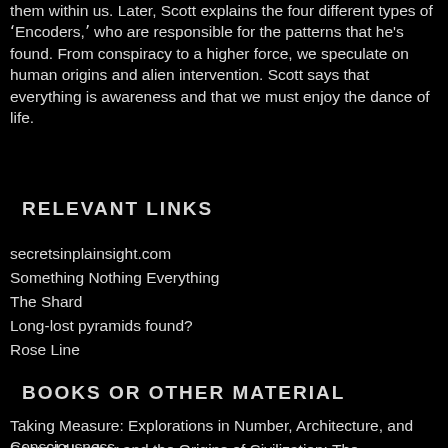them within us. Later, Scott explains the four different types of 'Encoders,' who are responsible for the patterns that he's found. From conspiracy to a higher force, we speculate on human origins and alien intervention. Scott says that everything is awareness and that we must enjoy the dance of life.
RELEVANT LINKS
secretsinplainsight.com
Something Nothing Everything
The Shard
Long-lost pyramids found?
Rose Line
BOOKS OR OTHER MATERIAL
Taking Measure: Explorations in Number, Architecture, and Consciousness
Sacred Number and the Origins of Civilization: The